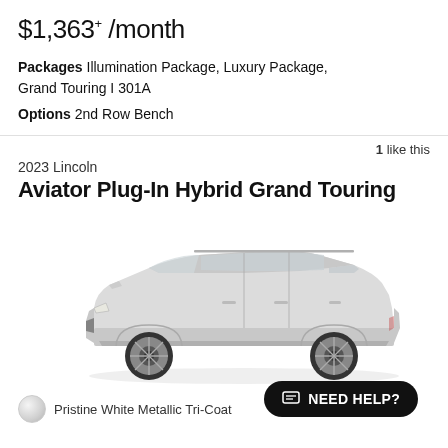$1,363* /month
Packages Illumination Package, Luxury Package, Grand Touring I 301A
Options 2nd Row Bench
1 like this
2023 Lincoln
Aviator Plug-In Hybrid Grand Touring
[Figure (photo): Side profile photo of a 2023 Lincoln Aviator Plug-In Hybrid Grand Touring in Pristine White Metallic Tri-Coat color]
Pristine White Metallic Tri-Coat
NEED HELP?